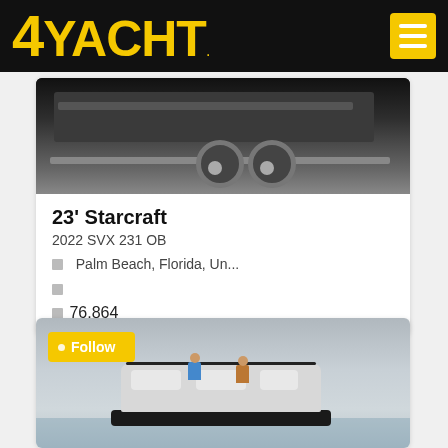4YACHT
[Figure (photo): Photo of a boat on a trailer in a parking lot, dual axle trailer visible]
23' Starcraft
2022 SVX 231 OB
Palm Beach, Florida, Un...
76,864
[Figure (photo): Aerial photo of a pontoon boat on water with people seated on it, Follow button overlay in yellow]